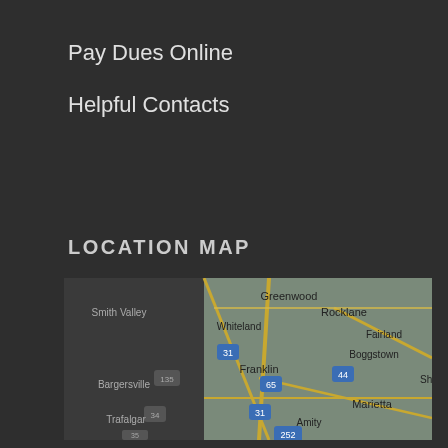Pay Dues Online
Helpful Contacts
LOCATION MAP
[Figure (map): Google Maps screenshot showing the Franklin, Indiana area including locations: Greenwood, Rocklane, Fairland, Smith Valley, Boggstown, Whiteland, Bargersville, Franklin, Shelby, Marietta, Amity, Trafalgar. Roads including highways 31, 44, 65, 252, 135, 34 are visible.]